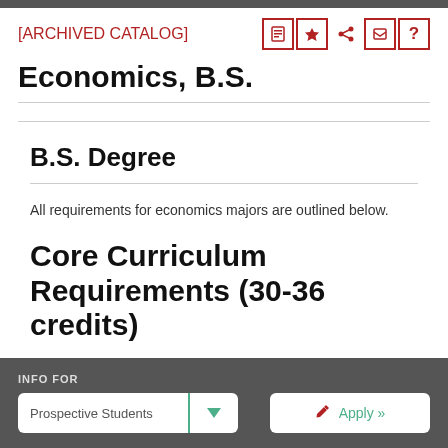[ARCHIVED CATALOG]
Economics, B.S.
B.S. Degree
All requirements for economics majors are outlined below.
Core Curriculum Requirements (30-36 credits)
INFO FOR  Prospective Students  Apply »